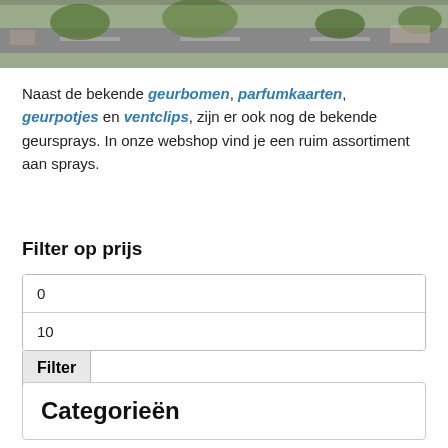[Figure (photo): Aerial or street-level photo partially visible at the top of the page, showing a road and green areas]
Naast de bekende geurbomen, parfumkaarten, geurpotjes en ventclips, zijn er ook nog de bekende geursprays. In onze webshop vind je een ruim assortiment aan sprays.
Filter op prijs
0
10
Filter
Categorieën